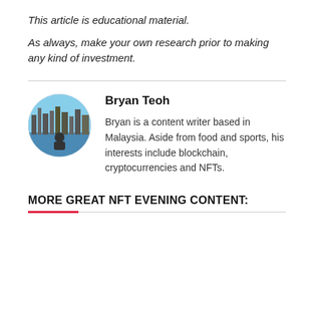This article is educational material.
As always, make your own research prior to making any kind of investment.
Bryan Teoh
Bryan is a content writer based in Malaysia. Aside from food and sports, his interests include blockchain, cryptocurrencies and NFTs.
MORE GREAT NFT EVENING CONTENT: